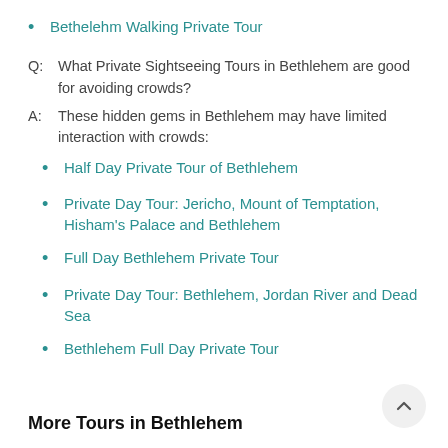Bethelehm Walking Private Tour
Q: What Private Sightseeing Tours in Bethlehem are good for avoiding crowds?
A: These hidden gems in Bethlehem may have limited interaction with crowds:
Half Day Private Tour of Bethlehem
Private Day Tour: Jericho, Mount of Temptation, Hisham's Palace and Bethlehem
Full Day Bethlehem Private Tour
Private Day Tour: Bethlehem, Jordan River and Dead Sea
Bethlehem Full Day Private Tour
More Tours in Bethlehem